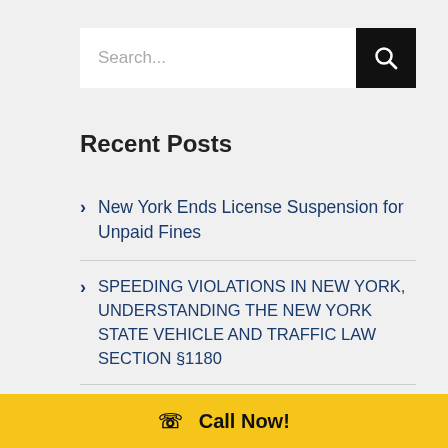[Figure (other): Search bar with text input field and black search button with magnifying glass icon]
Recent Posts
New York Ends License Suspension for Unpaid Fines
SPEEDING VIOLATIONS IN NEW YORK, UNDERSTANDING THE NEW YORK STATE VEHICLE AND TRAFFIC LAW SECTION §1180
Nassau County Police Department to
Call Now!